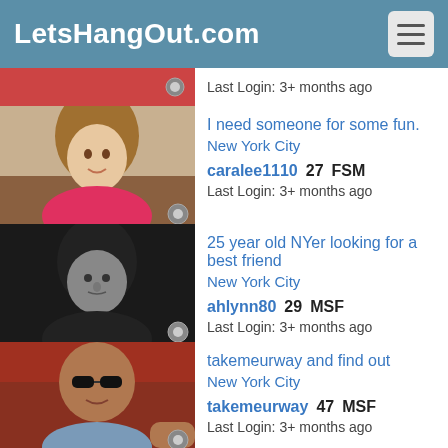LetsHangOut.com
Last Login: 3+ months ago
I need someone for some fun. New York City
caralee1110 27 FSM
Last Login: 3+ months ago
25 year old NYer looking for a best friend New York City
ahlynn80 29 MSF
Last Login: 3+ months ago
takemeurway and find out New York City
takemeurway 47 MSF
Last Login: 3+ months ago
Heart of Gold New York City
Williamtopher3 60 MSF
Last Login: 3+ months ago